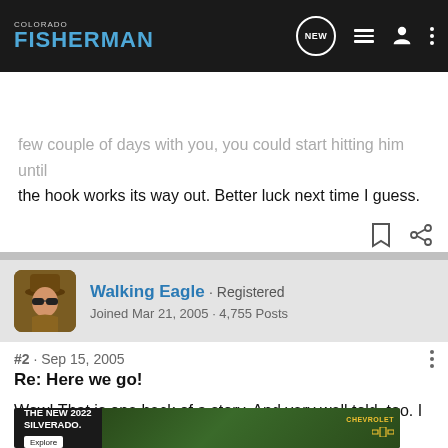Colorado Fisherman
Search Community
few couple of days with... you could start hitting him until the hook works its way out. Better luck next time I guess.
Walking Eagle · Registered
Joined Mar 21, 2005 · 4,755 Posts
#2 · Sep 15, 2005
Re: Here we go!
Wow! That is one heck of a story. And very well told, too. I almost f... to be able to w...
[Figure (screenshot): Advertisement banner for The New 2022 Silverado by Chevrolet with Explore button and truck image]